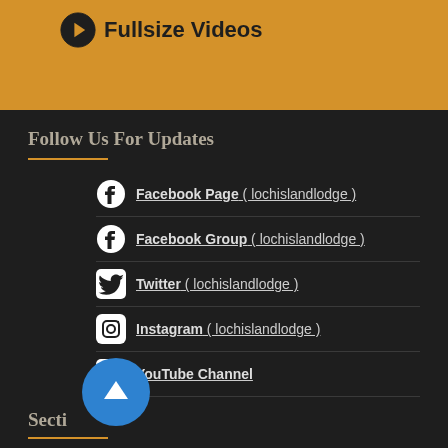Fullsize Videos
Follow Us For Updates
Facebook Page ( lochislandlodge )
Facebook Group ( lochislandlodge )
Twitter ( lochislandlodge )
Instagram ( lochislandlodge )
YouTube Channel
Secti...
Home Page